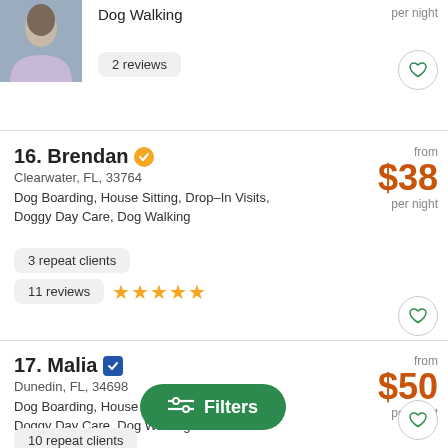[Figure (photo): Partial profile photo of a person with dark hair]
Dog Walking
2 reviews
16. Brendan  Clearwater, FL, 33764 Dog Boarding, House Sitting, Drop-In Visits, Doggy Day Care, Dog Walking from $38 per night
3 repeat clients
11 reviews ★★★★★
17. Malia  Dunedin, FL, 34698 Dog Boarding, House Sitting, Drop-In Visits, Doggy Day Care, Dog Walking from $50 per night
10 repeat clients
29 revi...
Filters